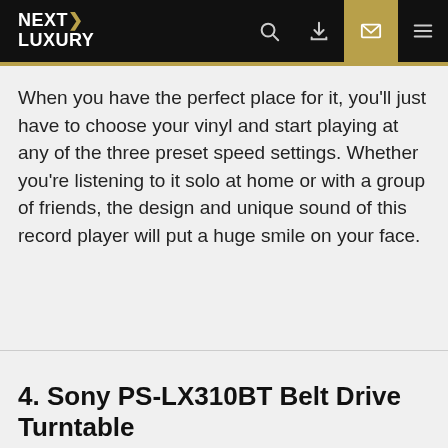NEXT LUXURY
When you have the perfect place for it, you'll just have to choose your vinyl and start playing at any of the three preset speed settings. Whether you're listening to it solo at home or with a group of friends, the design and unique sound of this record player will put a huge smile on your face.
4. Sony PS-LX310BT Belt Drive Turntable